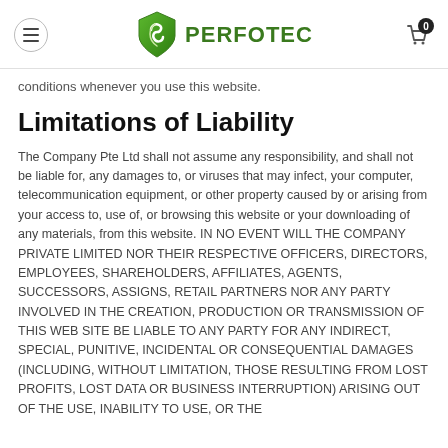PERFOTEC
conditions whenever you use this website.
Limitations of Liability
The Company Pte Ltd shall not assume any responsibility, and shall not be liable for, any damages to, or viruses that may infect, your computer, telecommunication equipment, or other property caused by or arising from your access to, use of, or browsing this website or your downloading of any materials, from this website. IN NO EVENT WILL THE COMPANY PRIVATE LIMITED NOR THEIR RESPECTIVE OFFICERS, DIRECTORS, EMPLOYEES, SHAREHOLDERS, AFFILIATES, AGENTS, SUCCESSORS, ASSIGNS, RETAIL PARTNERS NOR ANY PARTY INVOLVED IN THE CREATION, PRODUCTION OR TRANSMISSION OF THIS WEB SITE BE LIABLE TO ANY PARTY FOR ANY INDIRECT, SPECIAL, PUNITIVE, INCIDENTAL OR CONSEQUENTIAL DAMAGES (INCLUDING, WITHOUT LIMITATION, THOSE RESULTING FROM LOST PROFITS, LOST DATA OR BUSINESS INTERRUPTION) ARISING OUT OF THE USE, INABILITY TO USE, OR THE